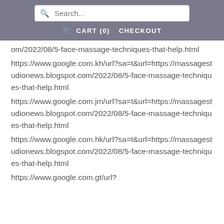Search... | CART (0) CHECKOUT
om/2022/08/5-face-massage-techniques-that-help.html
https://www.google.com.kh/url?sa=t&url=https://massagestudionews.blogspot.com/2022/08/5-face-massage-techniques-that-help.html
https://www.google.com.jm/url?sa=t&url=https://massagestudionews.blogspot.com/2022/08/5-face-massage-techniques-that-help.html
https://www.google.com.hk/url?sa=t&url=https://massagestudionews.blogspot.com/2022/08/5-face-massage-techniques-that-help.html
https://www.google.com.gt/url?